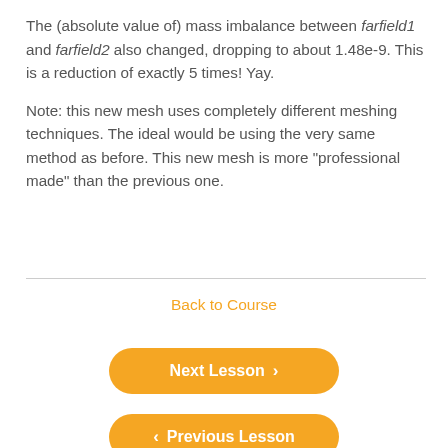The (absolute value of) mass imbalance between farfield1 and farfield2 also changed, dropping to about 1.48e-9. This is a reduction of exactly 5 times! Yay.

Note: this new mesh uses completely different meshing techniques. The ideal would be using the very same method as before. This new mesh is more "professional made" than the previous one.
Back to Course
Next Lesson >
< Previous Lesson